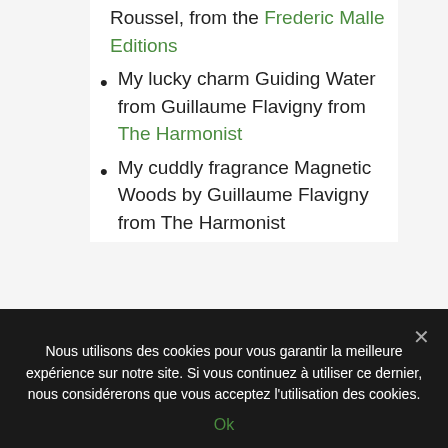Ravageur by Maurice Roussel, from the Frederic Malle Editions
My lucky charm Guiding Water from Guillaume Flavigny from The Harmonist
My cuddly fragrance Magnetic Woods by Guillaume Flavigny from The Harmonist
Onto what odour do you lay your nose on?
Nous utilisons des cookies pour vous garantir la meilleure expérience sur notre site. Si vous continuez à utiliser ce dernier, nous considérerons que vous acceptez l'utilisation des cookies. Ok